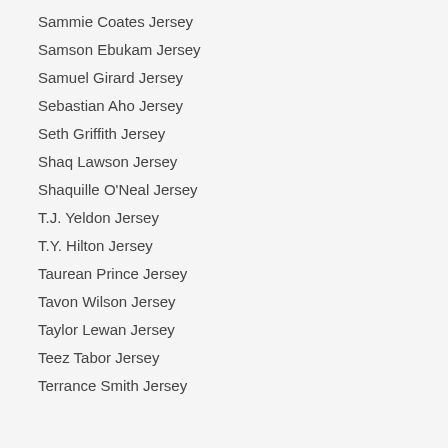Sammie Coates Jersey
Samson Ebukam Jersey
Samuel Girard Jersey
Sebastian Aho Jersey
Seth Griffith Jersey
Shaq Lawson Jersey
Shaquille O'Neal Jersey
T.J. Yeldon Jersey
T.Y. Hilton Jersey
Taurean Prince Jersey
Tavon Wilson Jersey
Taylor Lewan Jersey
Teez Tabor Jersey
Terrance Smith Jersey